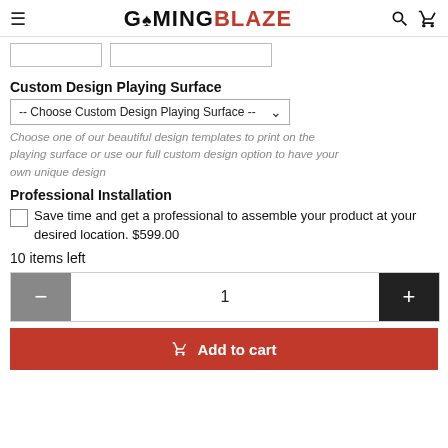GAMINGBLAZE
Custom Design Playing Surface
-- Choose Custom Design Playing Surface --
Choose one of our beautiful design templates to print on the playing surface or use our full custom design option to have your own unique design
Professional Installation
Save time and get a professional to assemble your product at your desired location. $599.00
10 items left
1
Add to cart